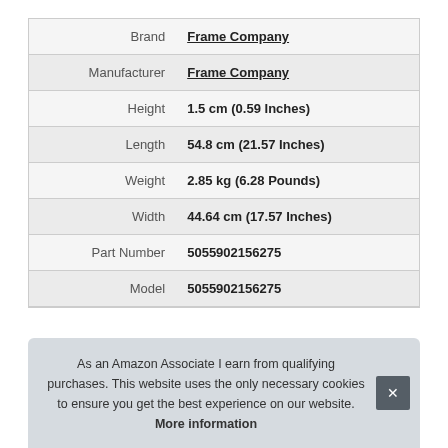| Label | Value |
| --- | --- |
| Brand | Frame Company |
| Manufacturer | Frame Company |
| Height | 1.5 cm (0.59 Inches) |
| Length | 54.8 cm (21.57 Inches) |
| Weight | 2.85 kg (6.28 Pounds) |
| Width | 44.64 cm (17.57 Inches) |
| Part Number | 5055902156275 |
| Model | 5055902156275 |
As an Amazon Associate I earn from qualifying purchases. This website uses the only necessary cookies to ensure you get the best experience on our website. More information